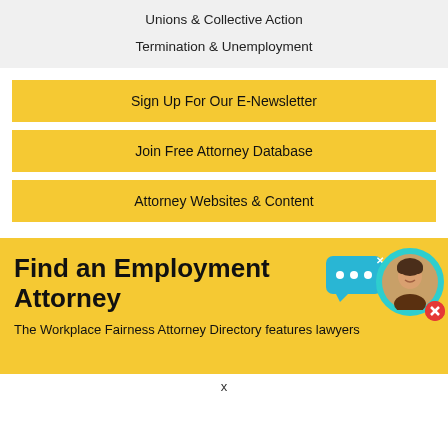Unions & Collective Action
Termination & Unemployment
Sign Up For Our E-Newsletter
Join Free Attorney Database
Attorney Websites & Content
Find an Employment Attorney
The Workplace Fairness Attorney Directory features lawyers
x